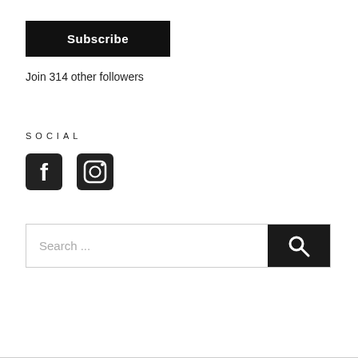[Figure (other): Subscribe button — black rectangular button with white bold text 'Subscribe']
Join 314 other followers
SOCIAL
[Figure (other): Social media icons: Facebook and Instagram icons in black rounded squares]
[Figure (other): Search bar with placeholder text 'Search ...' and a black search button with magnifying glass icon]